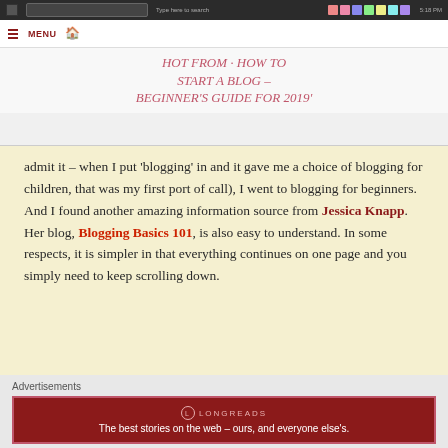[Figure (screenshot): Browser screenshot showing a blog page with menu bar and title 'HOT FROM HOW TO START A BLOG – BEGINNER'S GUIDE FOR 2019']
admit it – when I put 'blogging' in and it gave me a choice of blogging for children, that was my first port of call), I went to blogging for beginners. And I found another amazing information source from Jessica Knapp. Her blog, Blogging Basics 101, is also easy to understand. In some respects, it is simpler in that everything continues on one page and you simply need to keep scrolling down.
Advertisements
[Figure (screenshot): Longreads advertisement: The best stories on the web – ours, and everyone else's.]